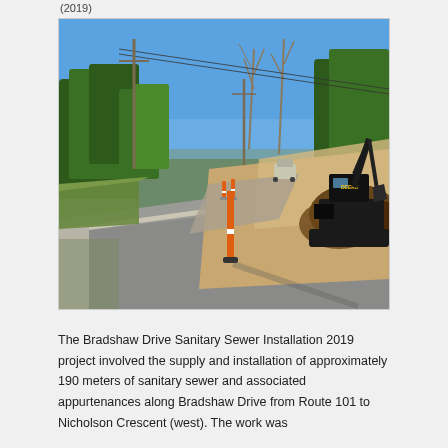(2019)
[Figure (photo): Construction site photo showing Bradshaw Drive with orange traffic delineator posts on the road, excavation equipment (John Deere excavator) on the right side, and construction work being done along the roadside. Trees are visible in the background under a clear blue sky.]
The Bradshaw Drive Sanitary Sewer Installation 2019 project involved the supply and installation of approximately 190 meters of sanitary sewer and associated appurtenances along Bradshaw Drive from Route 101 to Nicholson Crescent (west). The work was